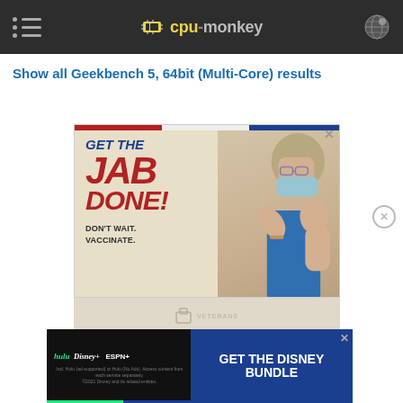cpu-monkey
Show all Geekbench 5, 64bit (Multi-Core) results
[Figure (photo): Advertisement: GET THE JAB DONE! DON'T WAIT. VACCINATE. - UK COVID-19 vaccination campaign ad with person flexing arm and wearing mask]
[Figure (photo): Advertisement: GET THE DISNEY BUNDLE - Hulu, Disney+, ESPN+. Incl. Hulu (ad-supported) or Hulu (No Ads). Access content from each service separately. ©2021 Disney and its related entities.]